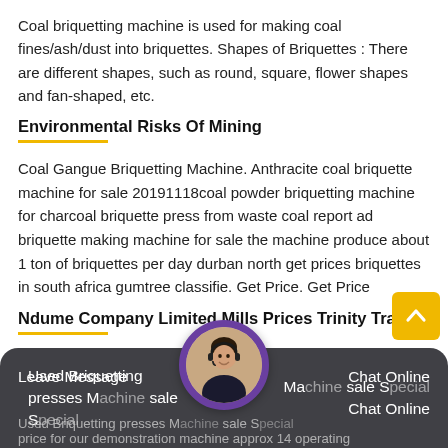Coal briquetting machine is used for making coal fines/ash/dust into briquettes. Shapes of Briquettes : There are different shapes, such as round, square, flower shapes and fan-shaped, etc.
Environmental Risks Of Mining
Coal Gangue Briquetting Machine. Anthracite coal briquette machine for sale 20191118coal powder briquetting machine for charcoal briquette press from waste coal report ad briquette making machine for sale the machine produce about 1 ton of briquettes per day durban north get prices briquettes in south africa gumtree classifie. Get Price. Get Price
Ndume Company Limited Mills Prices Trinity Trade
Used Briquetting presses Machine sale Special price for our demonstration machine approx 14 operating
Leave Message   Chat Online